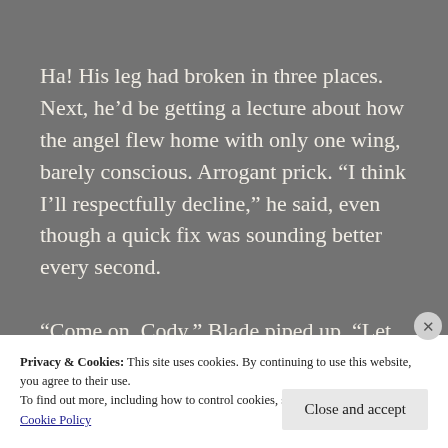Ha! His leg had broken in three places. Next, he’d be getting a lecture about how the angel flew home with only one wing, barely conscious. Arrogant prick. “I think I’ll respectfully decline,” he said, even though a quick fix was sounding better every second.

“Come on, Cody,” Blade piped up. “Let us help you.”
Privacy & Cookies: This site uses cookies. By continuing to use this website, you agree to their use.
To find out more, including how to control cookies, see here:
Cookie Policy
Close and accept